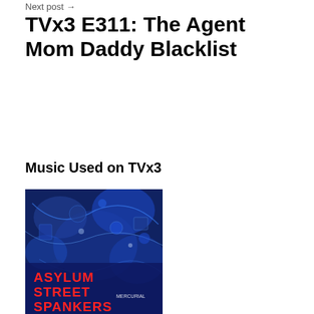Next post →
TVx3 E311: The Agent Mom Daddy Blacklist
Music Used on TVx3
[Figure (photo): Album cover for Asylum Street Spankers - Mercurial. Dark blue illustrated background with red and white text reading 'ASYLUM STREET SPANKERS' and the album title 'MERCURIAL' in smaller text.]